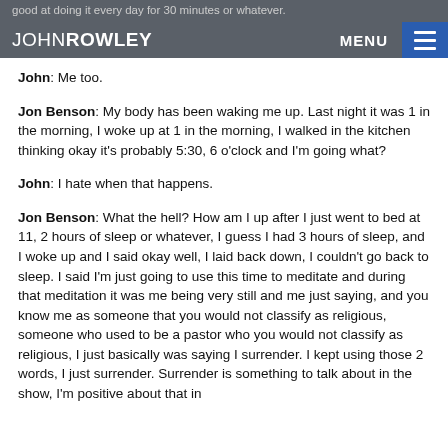good at doing it every day for 30 minutes or whatever. JOHN ROWLEY MENU
John: Me too.
Jon Benson: My body has been waking me up. Last night it was 1 in the morning, I woke up at 1 in the morning, I walked in the kitchen thinking okay it’s probably 5:30, 6 o’clock and I’m going what?
John: I hate when that happens.
Jon Benson: What the hell? How am I up after I just went to bed at 11, 2 hours of sleep or whatever, I guess I had 3 hours of sleep, and I woke up and I said okay well, I laid back down, I couldn’t go back to sleep. I said I’m just going to use this time to meditate and during that meditation it was me being very still and me just saying, and you know me as someone that you would not classify as religious, someone who used to be a pastor who you would not classify as religious, I just basically was saying I surrender. I kept using those 2 words, I just surrender. Surrender is something to talk about in the show, I'm positive about that in